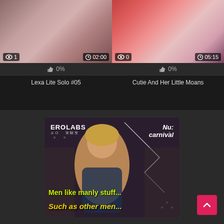[Figure (screenshot): Video thumbnail for 'Lexa Lite Solo #05' showing a woman, with view count 1 and duration 02:00, and 0% likes]
Lexa Lite Solo #05
[Figure (screenshot): Video thumbnail for 'Cutie And Her Little Moans' showing a woman, with view count 0 and duration 05:15, and 0% likes]
Cutie And Her Little Moans
[Figure (illustration): EROLABS Nu:carnival advertisement banner with anime character and text 'Men like manly stuff... Such as other men...']